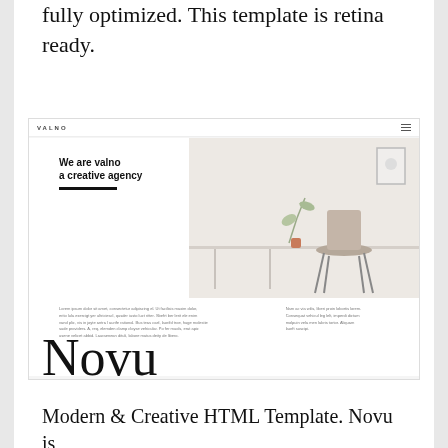fully optimized. This template is retina ready.
[Figure (screenshot): Screenshot of a website template called VALNO showing a creative agency homepage with minimalist design, desk and chair photo, and lorem ipsum body text.]
Novu
Modern & Creative HTML Template. Novu is